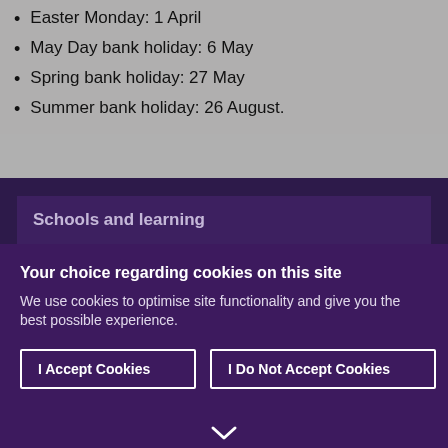Easter Monday: 1 April
May Day bank holiday: 6 May
Spring bank holiday: 27 May
Summer bank holiday: 26 August.
Schools and learning
Your choice regarding cookies on this site
We use cookies to optimise site functionality and give you the best possible experience.
I Accept Cookies
I Do Not Accept Cookies